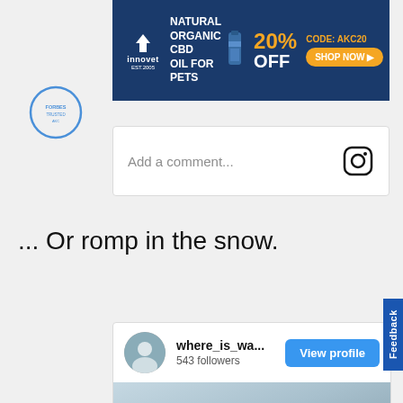[Figure (other): Innovet advertisement banner: Natural Organic CBD Oil for Pets, 20% OFF, Code: AKC20, Shop Now button]
[Figure (logo): Circular AKC trusted logo on grey background]
Add a comment...
... Or romp in the snow.
[Figure (screenshot): Instagram embed showing user where_is_wa... with 543 followers, View profile button, and a snow video thumbnail with play button]
Feedback